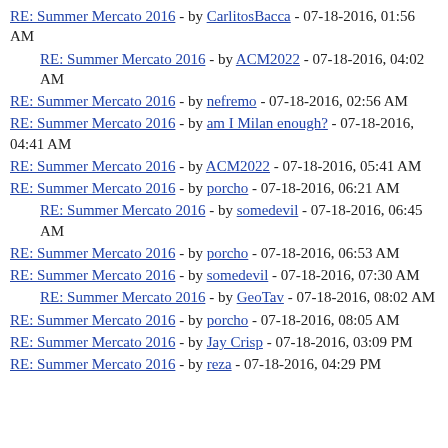RE: Summer Mercato 2016 - by CarlitosBacca - 07-18-2016, 01:56 AM
RE: Summer Mercato 2016 - by ACM2022 - 07-18-2016, 04:02 AM
RE: Summer Mercato 2016 - by nefremo - 07-18-2016, 02:56 AM
RE: Summer Mercato 2016 - by am I Milan enough? - 07-18-2016, 04:41 AM
RE: Summer Mercato 2016 - by ACM2022 - 07-18-2016, 05:41 AM
RE: Summer Mercato 2016 - by porcho - 07-18-2016, 06:21 AM
RE: Summer Mercato 2016 - by somedevil - 07-18-2016, 06:45 AM
RE: Summer Mercato 2016 - by porcho - 07-18-2016, 06:53 AM
RE: Summer Mercato 2016 - by somedevil - 07-18-2016, 07:30 AM
RE: Summer Mercato 2016 - by GeoTav - 07-18-2016, 08:02 AM
RE: Summer Mercato 2016 - by porcho - 07-18-2016, 08:05 AM
RE: Summer Mercato 2016 - by Jay Crisp - 07-18-2016, 03:09 PM
RE: Summer Mercato 2016 - by reza - 07-18-2016, 04:29 PM